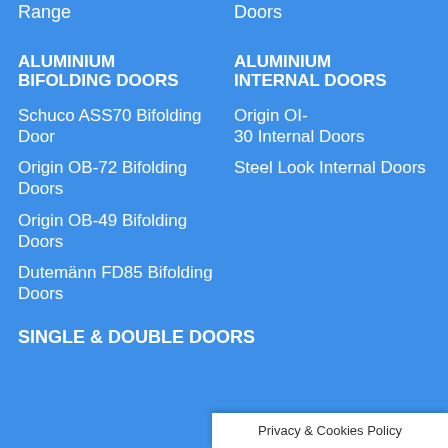Range
Doors
ALUMINIUM BIFOLDING DOORS
ALUMINIUM INTERNAL DOORS
Schuco ASS70 Bifolding Door
Origin OI-30 Internal Doors
Origin OB-72 Bifolding Doors
Steel Look Internal Doors
Origin OB-49 Bifolding Doors
Dutemänn FD85 Bifolding Doors
SINGLE & DOUBLE DOORS
Privacy & Cookies Policy